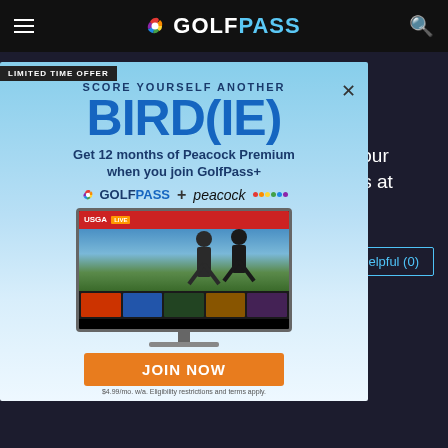GOLFPASS
Ford's Colony Country Club - Blue Heron Course
Commented on 05/24/2022
Hello and thank you for your 5-star rating, Noah017! We're delighted you enjoyed your round. Please book another round with us at Ford's Colony ... rse!
[Figure (screenshot): GolfPass promotional popup overlay with 'LIMITED TIME OFFER' banner, 'SCORE YOURSELF ANOTHER BIRDIE' text, offer for 12 months of Peacock Premium when joining GolfPass+, GolfPass + Peacock logos, TV screen showing USGA content, JOIN NOW button, and small print.]
Helpful (0)